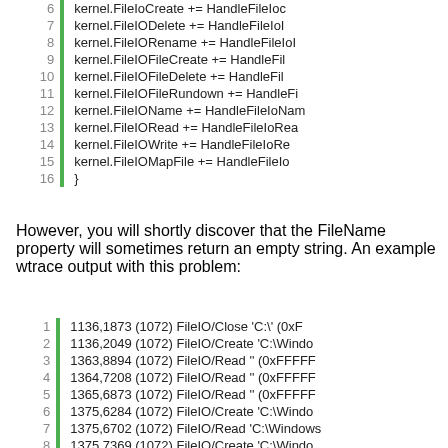[Figure (screenshot): Code block with line numbers 7-16 showing kernel FileIO event handler assignments in C#]
However, you will shortly discover that the FileName property will sometimes return an empty string. An example wtrace output with this problem:
[Figure (screenshot): Code/trace output block with line numbers 1-9+ showing wtrace FileIO events with timestamps, PIDs, and file paths]